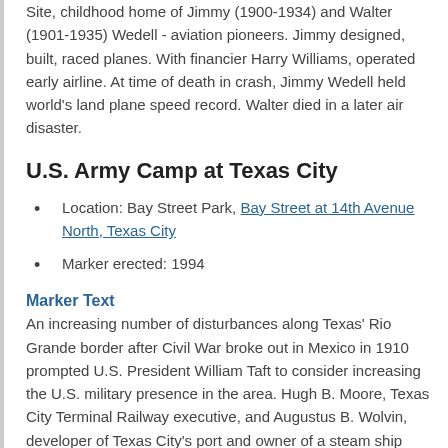Site, childhood home of Jimmy (1900-1934) and Walter (1901-1935) Wedell - aviation pioneers. Jimmy designed, built, raced planes. With financier Harry Williams, operated early airline. At time of death in crash, Jimmy Wedell held world's land plane speed record. Walter died in a later air disaster.
U.S. Army Camp at Texas City
Location: Bay Street Park, Bay Street at 14th Avenue North, Texas City
Marker erected: 1994
Marker Text
An increasing number of disturbances along Texas' Rio Grande border after Civil War broke out in Mexico in 1910 prompted U.S. President William Taft to consider increasing the U.S. military presence in the area. Hugh B. Moore, Texas City Terminal Railway executive, and Augustus B. Wolvin, developer of Texas City's port and owner of a steam ship line,